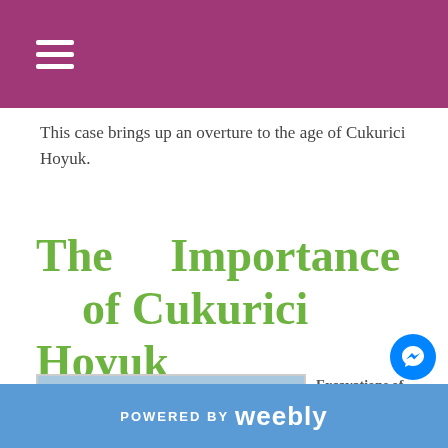☰
This case brings up an overture to the age of Cukurici Hoyuk.
The Importance of Cukurici Hoyuk
[Figure (photo): Aerial/landscape photograph of an archaeological excavation site at Cukurici Hoyuk, showing ancient stone foundations in foreground and agricultural fields and hills in background]
Excavations of Cukurici Hoyuk enlightened the oldest settlement at Ephesus starting from
POWERED BY weebly